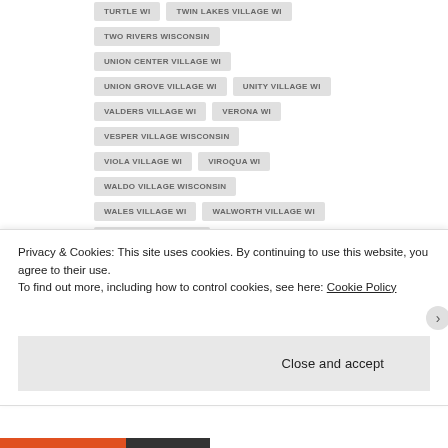TURTLE WI
TWIN LAKES VILLAGE WI
TWO RIVERS WISCONSIN
UNION CENTER VILLAGE WI
UNION GROVE VILLAGE WI
UNITY VILLAGE WI
VALDERS VILLAGE WI
VERONA WI
VESPER VILLAGE WISCONSIN
VIOLA VILLAGE WI
VIROQUA WI
WALDO VILLAGE WISCONSIN
WALES VILLAGE WI
WALWORTH VILLAGE WI
WARRENS VILLAGE WI
WASHBURN WISCONSIN
Privacy & Cookies: This site uses cookies. By continuing to use this website, you agree to their use.
To find out more, including how to control cookies, see here: Cookie Policy
Close and accept